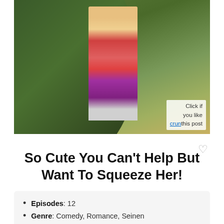[Figure (illustration): Anime screenshot showing a large male character in green clothing holding a small female character in a red and purple outfit]
Click if you like this post
So Cute You Can't Help But Want To Squeeze Her!
Episodes : 12
Genre : Comedy, Romance, Seinen